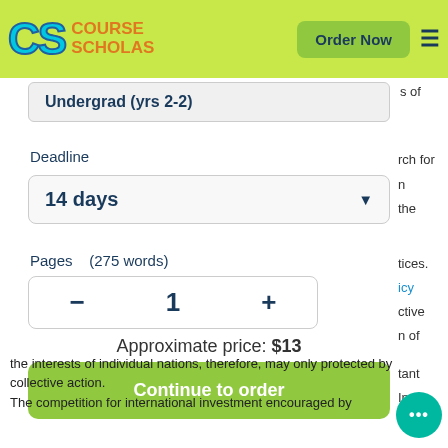CS Course Scholars — Order Now
Undergrad (yrs 2-2)
Deadline
14 days
Pages   (275 words)
1
Approximate price: $13
Continue to order
the interests of individual nations, therefore, may only protected by collective action.
The competition for international investment encouraged by